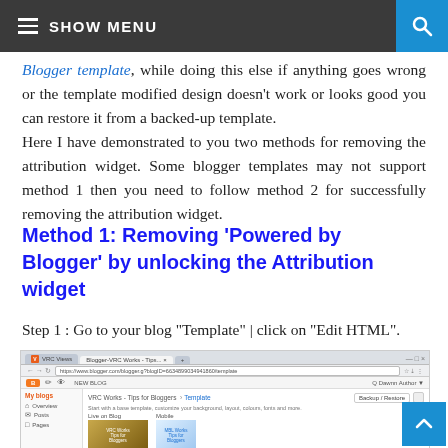SHOW MENU
Blogger template, while doing this else if anything goes wrong or the template modified design doesn't work or looks good you can restore it from a backed-up template. Here I have demonstrated to you two methods for removing the attribution widget. Some blogger templates may not support method 1 then you need to follow method 2 for successfully removing the attribution widget.
Method 1: Removing 'Powered by Blogger' by unlocking the Attribution widget
Step 1 : Go to your blog "Template" | click on "Edit HTML".
[Figure (screenshot): Screenshot of Blogger Template editor page in browser, showing My blogs sidebar, VRC Works - Tips for Bloggers > Template breadcrumb, Backup/Restore button, and template preview with Live on Blog and Mobile thumbnails.]